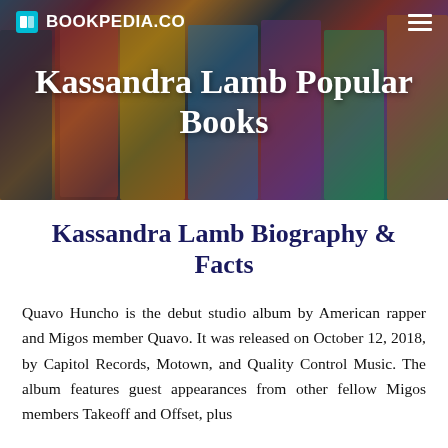BOOKPEDIA.CO
Kassandra Lamb Popular Books
Kassandra Lamb Biography & Facts
Quavo Huncho is the debut studio album by American rapper and Migos member Quavo. It was released on October 12, 2018, by Capitol Records, Motown, and Quality Control Music. The album features guest appearances from other fellow Migos members Takeoff and Offset, plus